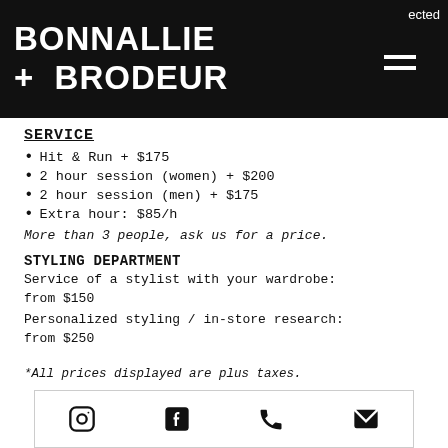BONNALLIE + BRODEUR
SERVICE
Hit & Run + $175
2 hour session (women) + $200
2 hour session (men) + $175
Extra hour: $85/h
More than 3 people, ask us for a price.
STYLING DEPARTMENT
Service of a stylist with your wardrobe: from $150
Personalized styling / in-store research: from $250
*All prices displayed are plus taxes.
[Figure (other): Social media icon bar with Instagram, Facebook, phone, and email icons]